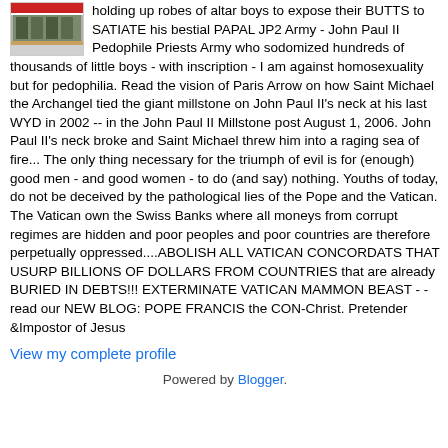holding up robes of altar boys to expose their BUTTS to SATIATE his bestial PAPAL JP2 Army - John Paul II Pedophile Priests Army who sodomized hundreds of thousands of little boys - with inscription - I am against homosexuality but for pedophilia. Read the vision of Paris Arrow on how Saint Michael the Archangel tied the giant millstone on John Paul II's neck at his last WYD in 2002 -- in the John Paul II Millstone post August 1, 2006. John Paul II's neck broke and Saint Michael threw him into a raging sea of fire... The only thing necessary for the triumph of evil is for (enough) good men - and good women - to do (and say) nothing. Youths of today, do not be deceived by the pathological lies of the Pope and the Vatican. The Vatican own the Swiss Banks where all moneys from corrupt regimes are hidden and poor peoples and poor countries are therefore perpetually oppressed....ABOLISH ALL VATICAN CONCORDATS THAT USURP BILLIONS OF DOLLARS FROM COUNTRIES that are already BURIED IN DEBTS!!! EXTERMINATE VATICAN MAMMON BEAST - - read our NEW BLOG: POPE FRANCIS the CON-Christ. Pretender &Impostor of Jesus
View my complete profile
Powered by Blogger.